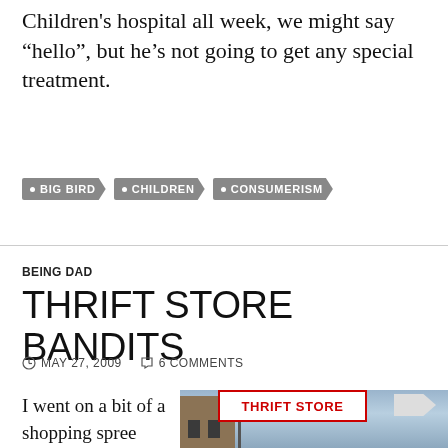Children's hospital all week, we might say “hello”, but he’s not going to get any special treatment.
BIG BIRD
CHILDREN
CONSUMERISM
BEING DAD
THRIFT STORE BANDITS
MAY 27, 2009   6 COMMENTS
I went on a bit of a shopping spree Monday. Yes, I like to go
[Figure (photo): Exterior photo of a building with a red and white THRIFT STORE sign]